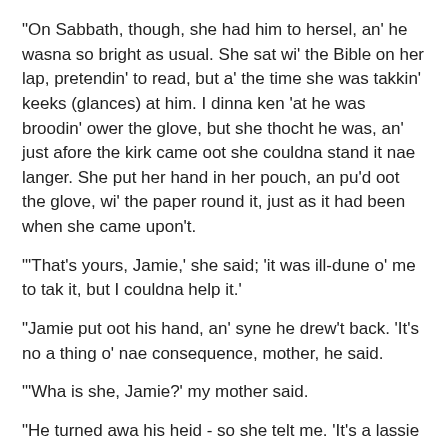"On Sabbath, though, she had him to hersel, an' he wasna so bright as usual. She sat wi' the Bible on her lap, pretendin' to read, but a' the time she was takkin' keeks (glances) at him. I dinna ken 'at he was broodin' ower the glove, but she thocht he was, an' just afore the kirk came oot she couldna stand it nae langer. She put her hand in her pouch, an pu'd oot the glove, wi' the paper round it, just as it had been when she came upon't.
"'That's yours, Jamie,' she said; 'it was ill-dune o' me to tak it, but I couldna help it.'
"Jamie put oot his hand, an' syne he drew't back. 'It's no a thing o' nae consequence, mother, he said.
"'Wha is she, Jamie?' my mother said.
"He turned awa his heid - so she telt me. 'It's a lassie in London,' he said, 'I dinna ken her muckle.'
"'Ye maun ken her weel,' my mother persisted, 'to be carryin' aboot her glove; I'm dootin' ye're gey fond o' her, Jamie?'
"'Na,' said Jamie, 'am no. There's no naebody I care for like yersel, mother.